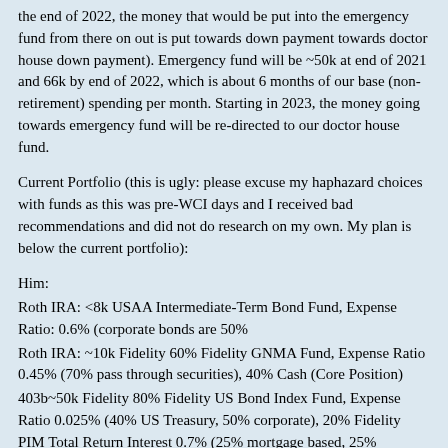the end of 2022, the money that would be put into the emergency fund from there on out is put towards down payment towards doctor house down payment). Emergency fund will be ~50k at end of 2021 and 66k by end of 2022, which is about 6 months of our base (non-retirement) spending per month. Starting in 2023, the money going towards emergency fund will be re-directed to our doctor house fund.
Current Portfolio (this is ugly: please excuse my haphazard choices with funds as this was pre-WCI days and I received bad recommendations and did not do research on my own. My plan is below the current portfolio):
Him:
Roth IRA: <8k USAA Intermediate-Term Bond Fund, Expense Ratio: 0.6% (corporate bonds are 50%
Roth IRA: ~10k Fidelity 60% Fidelity GNMA Fund, Expense Ratio 0.45% (70% pass through securities), 40% Cash (Core Position)
403b~50k Fidelity 80% Fidelity US Bond Index Fund, Expense Ratio 0.025% (40% US Treasury, 50% corporate), 20% Fidelity PIM Total Return Interest 0.7% (25% mortgage based, 25% government based)
403b ~20k TIAA 99% Vanguard Balanced Fund Institutional (60/40 mix)
401a: Company contribution of 4% starting in August 2020...